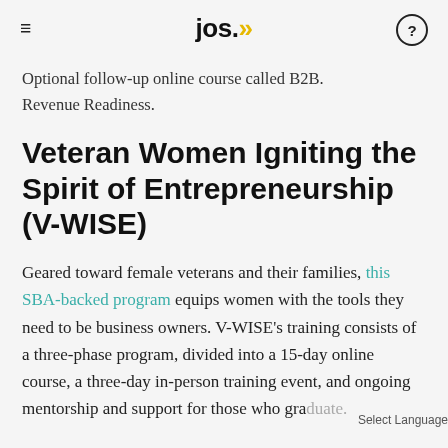jos.»
Optional follow-up online course called B2B. Revenue Readiness.
Veteran Women Igniting the Spirit of Entrepreneurship (V-WISE)
Geared toward female veterans and their families, this SBA-backed program equips women with the tools they need to be business owners. V-WISE's training consists of a three-phase program, divided into a 15-day online course, a three-day in-person training event, and ongoing mentorship and support for those who graduate.